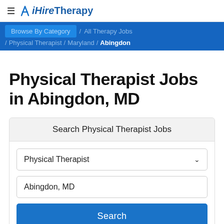≡ ✕ iHireTherapy
Browse By Category / All Therapy Jobs / Physical Therapist / Maryland / Abingdon
Physical Therapist Jobs in Abingdon, MD
Search Physical Therapist Jobs
Physical Therapist
Abingdon, MD
Search